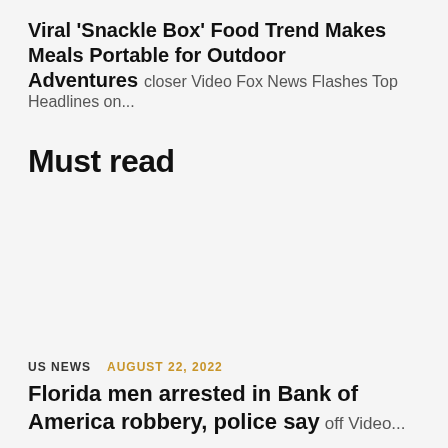Viral 'Snackle Box' Food Trend Makes Meals Portable for Outdoor Adventures closer Video Fox News Flashes Top Headlines on...
Must read
US NEWS  AUGUST 22, 2022
Florida men arrested in Bank of America robbery, police say off Video...